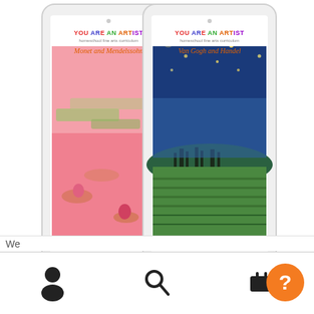[Figure (illustration): Two tablet devices side by side. Left tablet shows a Monet-style water lilies painting in pink tones with title 'YOU ARE AN ARTIST – Monet and Mendelssohn'. Right tablet shows a Van Gogh-style starry night painting in blue/green tones with title 'YOU ARE AN ARTIST – Van Gogh and Handel'.]
Art Appreciation for the Homeschool Family
We...